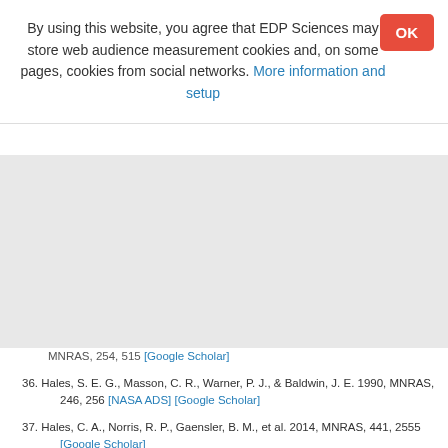By using this website, you agree that EDP Sciences may store web audience measurement cookies and, on some pages, cookies from social networks. More information and setup
MNRAS, 254, 515 [Google Scholar]
36. Hales, S. E. G., Masson, C. R., Warner, P. J., & Baldwin, J. E. 1990, MNRAS, 246, 256 [NASA ADS] [Google Scholar]
37. Hales, C. A., Norris, R. P., Gaensler, B. M., et al. 2014, MNRAS, 441, 2555 [Google Scholar]